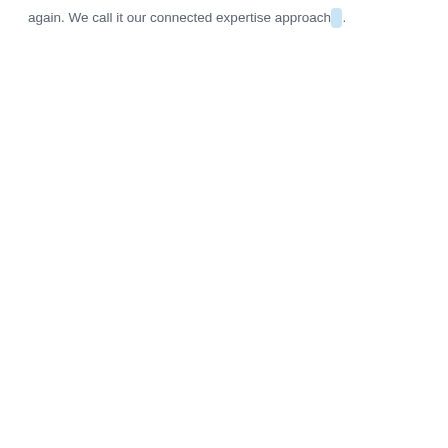again. We call it our connected expertise approach.